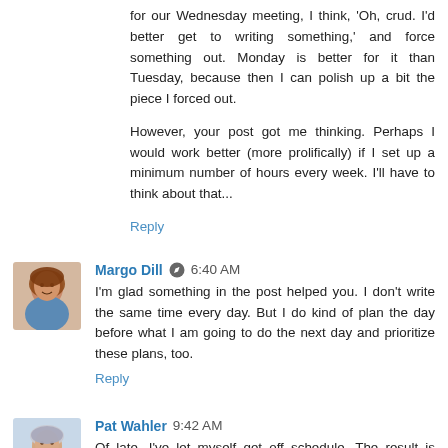for our Wednesday meeting, I think, 'Oh, crud. I'd better get to writing something,' and force something out. Monday is better for it than Tuesday, because then I can polish up a bit the piece I forced out.
However, your post got me thinking. Perhaps I would work better (more prolifically) if I set up a minimum number of hours every week. I'll have to think about that...
Reply
Margo Dill  6:40 AM
I'm glad something in the post helped you. I don't write the same time every day. But I do kind of plan the day before what I am going to do the next day and prioritize these plans, too.
Reply
Pat Wahler  9:42 AM
Of late, I've let myself get off schedule. The result is very...